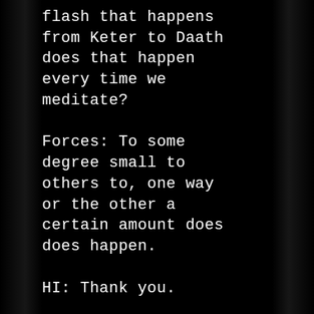flash that happens from Keter to Daath does that happen every time we meditate?
Forces: To some degree small to others to, one way or the other a certain amount does does happen.
HI: Thank you.